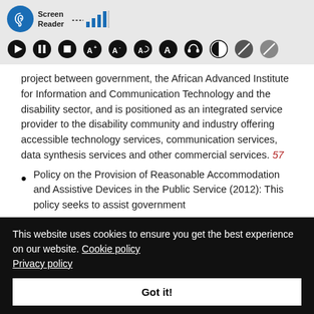[Figure (screenshot): Screen Reader accessibility toolbar with logo (ear/headphone icon in blue circle), signal bars, and row of accessibility control icons (play, pause, stop, font size controls, contrast, etc.) on a light grey background.]
project between government, the African Advanced Institute for Information and Communication Technology and the disability sector, and is positioned as an integrated service provider to the disability community and industry offering accessible technology services, communication services, data synthesis services and other commercial services. 57
Policy on the Provision of Reasonable Accommodation and Assistive Devices in the Public Service (2012): This policy seeks to assist government
This website uses cookies to ensure you get the best experience on our website. Cookie policy Privacy policy
Got it!